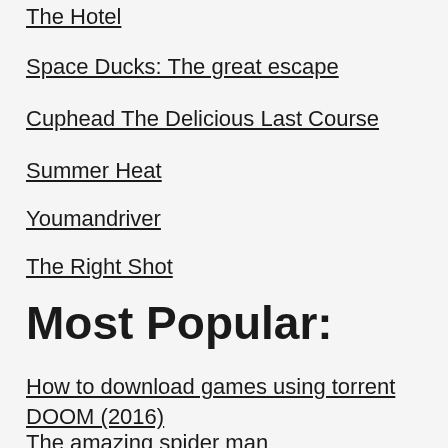The Hotel
Space Ducks: The great escape
Cuphead The Delicious Last Course
Summer Heat
Youmandriver
The Right Shot
Most Popular:
How to download games using torrent
DOOM (2016)
The amazing spider man